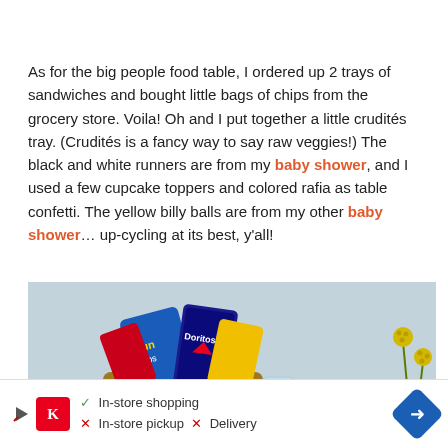As for the big people food table, I ordered up 2 trays of sandwiches and bought little bags of chips from the grocery store. Voila! Oh and I put together a little crudités tray. (Crudités is a fancy way to say raw veggies!) The black and white runners are from my baby shower, and I used a few cupcake toppers and colored rafia as table confetti. The yellow billy balls are from my other baby shower... up-cycling at its best, y'all!
[Figure (photo): A wicker basket filled with snack chip bags including Sun Chips and Doritos, with glass vases and yellow billy ball flowers visible on a light blue/gray background.]
[Figure (infographic): Advertisement bar: Kroger logo, In-store shopping (checkmark), In-store pickup (X), Delivery (X), with a blue arrow/navigation icon on the right.]